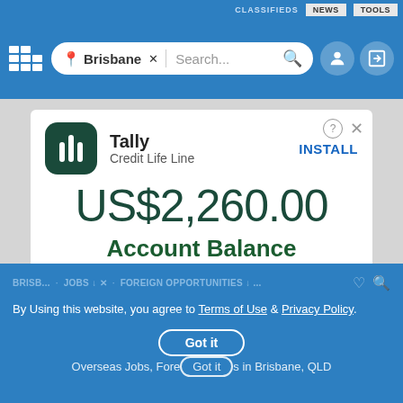[Figure (screenshot): Website navigation bar with Gumtree logo, Brisbane location search bar, and user/compose icons]
[Figure (screenshot): Tally Credit Life Line advertisement card showing US$2,260.00 Account Balance with install button and disclaimer text]
By Using this website, you agree to Terms of Use & Privacy Policy.
Overseas Jobs, Foreign Jobs in Brisbane, QLD